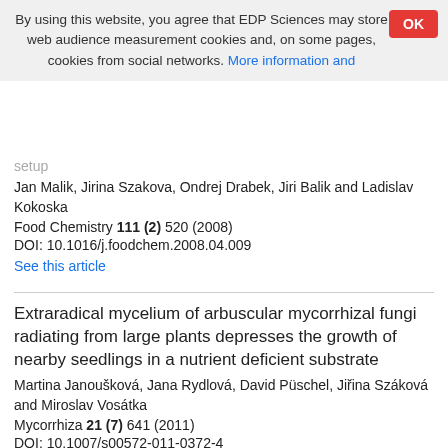By using this website, you agree that EDP Sciences may store web audience measurement cookies and, on some pages, cookies from social networks. More information and setup
OK
Jan Malik, Jirina Szakova, Ondrej Drabek, Jiri Balik and Ladislav Kokoska
Food Chemistry 111 (2) 520 (2008)
DOI: 10.1016/j.foodchem.2008.04.009
See this article
Extraradical mycelium of arbuscular mycorrhizal fungi radiating from large plants depresses the growth of nearby seedlings in a nutrient deficient substrate
Martina Janoušková, Jana Rydlová, David Püschel, Jiřina Száková and Miroslav Vosátka
Mycorrhiza 21 (7) 641 (2011)
DOI: 10.1007/s00572-011-0372-4
See this article